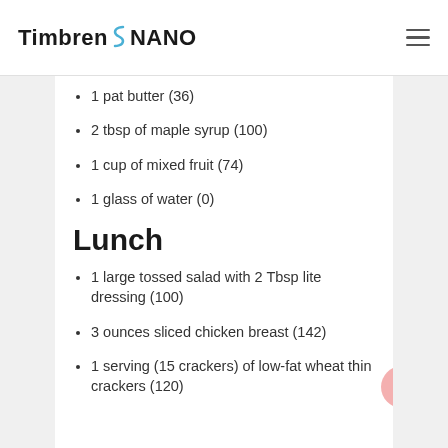Timbren NANO
1 pat butter (36)
2 tbsp of maple syrup (100)
1 cup of mixed fruit (74)
1 glass of water (0)
Lunch
1 large tossed salad with 2 Tbsp lite dressing (100)
3 ounces sliced chicken breast (142)
1 serving (15 crackers) of low-fat wheat thin crackers (120)